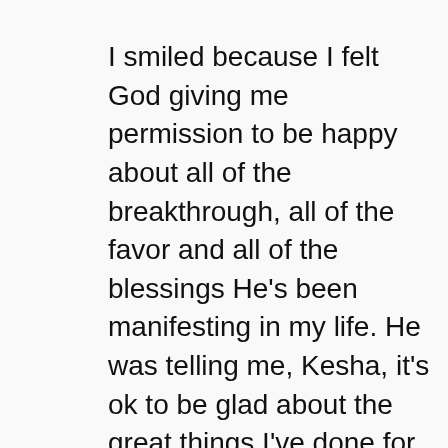I smiled because I felt God giving me permission to be happy about all of the breakthrough, all of the favor and all of the blessings He's been manifesting in my life. He was telling me, Kesha, it's ok to be glad about the great things I've done for you. Only He knows how I sometimes pretend like it's not a big deal and how I play it down. But God keeps nudging me and letting me know; it's ok to be glad.
My sister, I'm going to say the same to you that the Lord spoke to me. Has He done great things for you? Then, be glad. Not mad. Not sad. But glad. Give yourself permission to be over the moon happy.